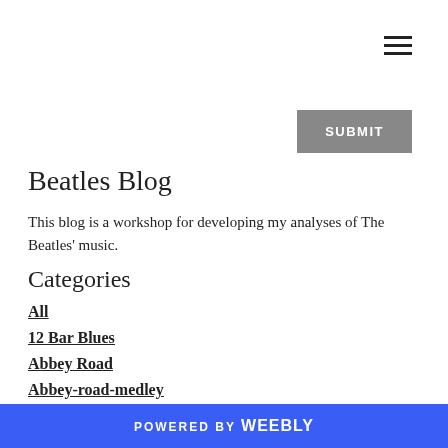[Figure (other): Hamburger menu icon (three horizontal lines) in top right corner]
[Figure (other): Gray SUBMIT button]
Beatles Blog
This blog is a workshop for developing my analyses of The Beatles' music.
Categories
All
12 Bar Blues
Abbey Road
Abbey-road-medley
Ab Road Bootlegs
POWERED BY weebly